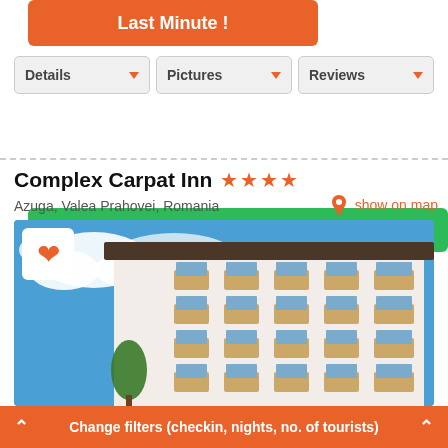[Figure (screenshot): Orange 'Last Minute!' button at top of hotel booking interface]
[Figure (screenshot): Navigation tabs: Details, Pictures, Reviews with dropdown arrows]
[Figure (screenshot): Green 'show offers' button with dropdown arrow]
Complex Carpat Inn ★★★★
Azuga, Valea Prahovei, Romania
show on map
[Figure (photo): Exterior photo of Complex Carpat Inn hotel building with blue sky and clouds, showing white building facade with balconies]
Change filters (checkin, nights, no. of tourists)